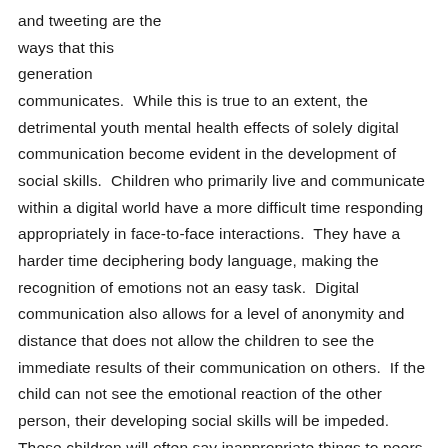and tweeting are the ways that this generation communicates.  While this is true to an extent, the detrimental youth mental health effects of solely digital communication become evident in the development of social skills.  Children who primarily live and communicate within a digital world have a more difficult time responding appropriately in face-to-face interactions.  They have a harder time deciphering body language, making the recognition of emotions not an easy task.  Digital communication also allows for a level of anonymity and distance that does not allow the children to see the immediate results of their communication on others.  If the child can not see the emotional reaction of the other person, their developing social skills will be impeded.  These children will often say inappropriate things to peers and adults, and have difficulty developing and maintaining healthy relationships.